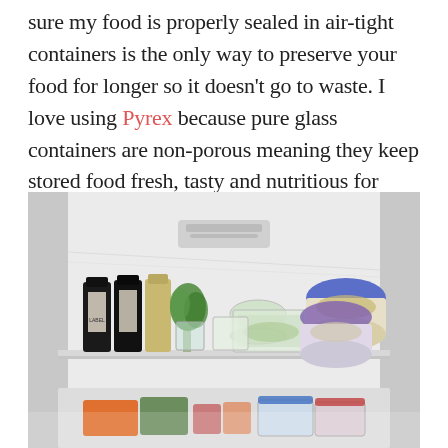sure my food is properly sealed in air-tight containers is the only way to preserve your food for longer so it doesn't go to waste. I love using Pyrex because pure glass containers are non-porous meaning they keep stored food fresh, tasty and nutritious for longer.
[Figure (photo): Interior view of an open refrigerator showing an organized shelf with dark juice/smoothie bottles, a green herb, glass containers with food, and round plastic containers with blue and purple lids on the right. Below the shelf is a drawer with colorful food containers.]